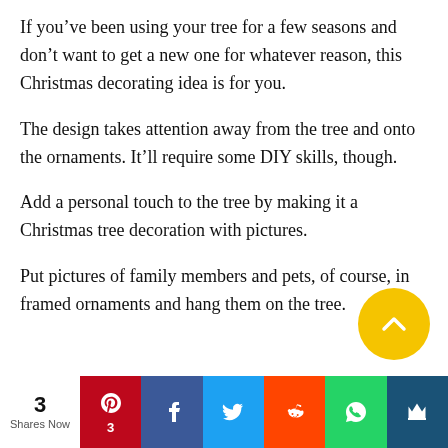If you've been using your tree for a few seasons and don't want to get a new one for whatever reason, this Christmas decorating idea is for you.
The design takes attention away from the tree and onto the ornaments. It'll require some DIY skills, though.
Add a personal touch to the tree by making it a Christmas tree decoration with pictures.
Put pictures of family members and pets, of course, in framed ornaments and hang them on the tree.
[Figure (other): Social sharing bar with share count (3 Shares Now), Pinterest, Facebook, Twitter, Reddit, WhatsApp, and crown/bookmark buttons]